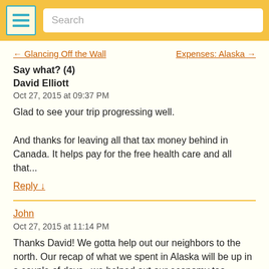Search
← Glancing Off the Wall    Expenses: Alaska →
Say what? (4)
David Elliott
Oct 27, 2015 at 09:37 PM
Glad to see your trip progressing well.

And thanks for leaving all that tax money behind in Canada. It helps pay for the free health care and all that...
Reply ↓
John
Oct 27, 2015 at 11:14 PM
Thanks David! We gotta help out our neighbors to the north. Our recap of what we spent in Alaska will be up in a couple of days...we helped out our economy too.